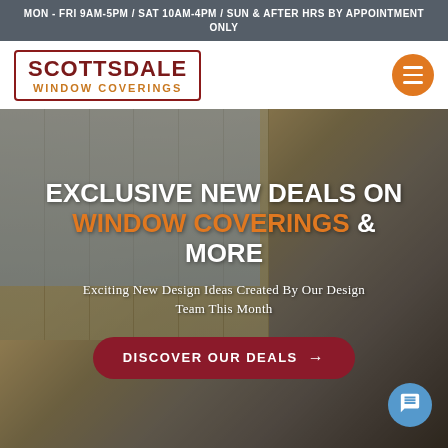MON - FRI 9AM-5PM / SAT 10AM-4PM / SUN & AFTER HRS BY APPOINTMENT ONLY
[Figure (logo): Scottsdale Window Coverings logo inside a dark red border box. 'SCOTTSDALE' in large dark red bold text, 'WINDOW COVERINGS' in smaller orange spaced text below.]
[Figure (photo): Interior living room photo showing vertical sheer panel blinds covering large windows with natural light, modern furniture including wicker chair, sofa with cushions, pendant light fixture, and indoor plant visible in background.]
EXCLUSIVE NEW DEALS ON WINDOW COVERINGS & MORE
Exciting New Design Ideas Created By Our Design Team This Month
DISCOVER OUR DEALS →